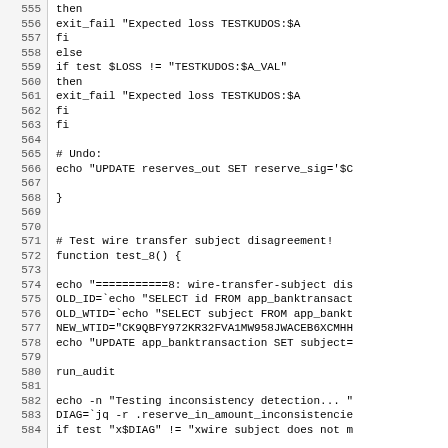Code listing lines 555-584 showing shell script with test functions for wire transfer subject disagreement detection